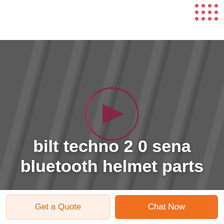[Figure (other): Decorative dot grid pattern in pink/red color in the top-right corner of the page header]
[Figure (photo): Hero section with dark gray textured background showing diagonal ridges/lines, with a semi-transparent play button icon (circle with forward arrow) in the center-left area]
bilt techno 2 0 sena bluetooth helmet parts
Get a Quote
Chat Now